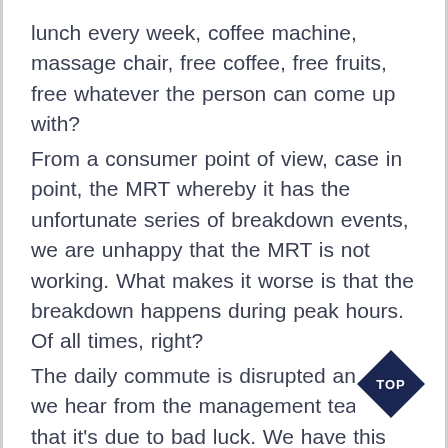lunch every week, coffee machine, massage chair, free coffee, free fruits, free whatever the person can come up with? From a consumer point of view, case in point, the MRT whereby it has the unfortunate series of breakdown events, we are unhappy that the MRT is not working. What makes it worse is that the breakdown happens during peak hours. Of all times, right? The daily commute is disrupted and all we hear from the management team is that it's due to bad luck. We have this idea of a bad management style in this case. Subsequently, we will see the transport fares being dropped by a few cents. After that, the end of some election or something will bring the price back up and even more than before. That is why we
[Figure (other): Dark navy diamond-shaped badge with 'TOP' text in white]